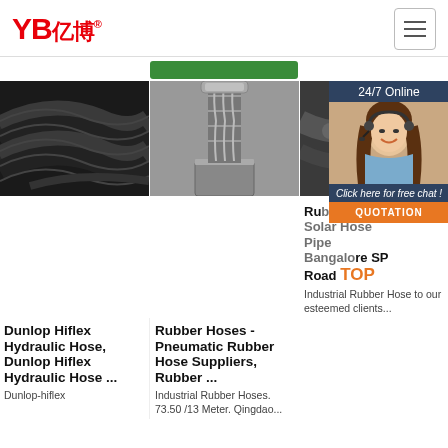YB亿博® — navigation header with hamburger menu
[Figure (illustration): Green button bar partially visible]
[Figure (photo): Black rubber hydraulic hose coiled]
Dunlop Hiflex Hydraulic Hose, Dunlop Hiflex Hydraulic Hose ...
Dunlop-hiflex
[Figure (photo): Metal fitting on rubber hose, close-up]
Rubber Hoses - Pneumatic Rubber Hose Suppliers, Rubber ...
Industrial Rubber Hoses. 73.50 /13 Meter. Qingdao...
[Figure (photo): Industrial rubber hose product image]
[Figure (photo): 24/7 Online support agent, woman with headset]
24/7 Online
Click here for free chat !
QUOTATION
Rubber Solar Hose Pipe Bangalore SP Road
Industrial Rubber Hose to our esteemed clients...